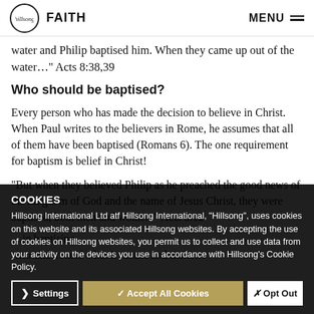Hillsong FAITH | MENU
water and Philip baptised him. When they came up out of the water…" Acts 8:38,39
Who should be baptised?
Every person who has made the decision to believe in Christ. When Paul writes to the believers in Rome, he assumes that all of them have been baptised (Romans 6). The one requirement for baptism is belief in Christ!
"But when they believed Philip as he preached the good news of the kingdom of God and the name of Jesus Christ, they were baptised, both men and women." Acts 8:12
…in baptising… …to understand what it means and make…
COOKIES
Hillsong International Ltd atf Hillsong International, "Hillsong", uses cookies on this website and its associated Hillsong websites. By accepting the use of cookies on Hillsong websites, you permit us to collect and use data from your activity on the devices you use in accordance with Hillsong's Cookie Policy.